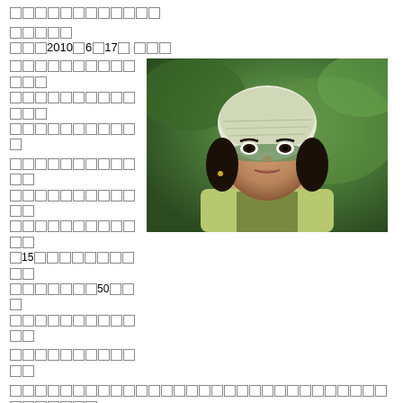[tofu characters]
[tofu characters]
[tofu characters] 2010 [tofu] 6 [tofu] 17 [tofu] [tofu tofu]
[tofu characters block left column]
[Figure (photo): A young woman wearing a light green/white patterned headscarf and a yellow-green knit sweater over a collared jacket, looking at the camera with a serious expression. Outdoor setting with blurred green background.]
[tofu characters continuing below image]
[tofu characters full width lines]
[tofu]